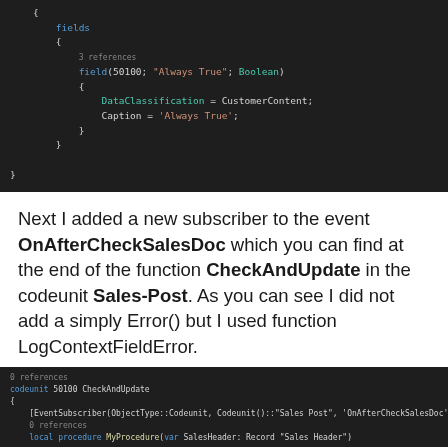[Figure (screenshot): Code editor screenshot showing AL code with fields block containing field(50100; "Always True"; Boolean) with DataClassification = CustomerContent and Caption = 'Always True']
Next I added a new subscriber to the event OnAfterCheckSalesDoc which you can find at the end of the function CheckAndUpdate in the codeunit Sales-Post. As you can see I did not add a simply Error() but I used function LogContextFieldError.
[Figure (screenshot): Code editor screenshot showing codeunit 50100 CheckAndUpdate with EventSubscriber and local procedure MyProcedure(var SalesHeader: Record "Sales Header")]